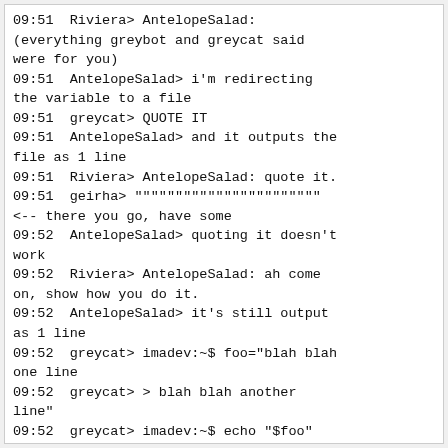09:51  Riviera> AntelopeSalad:
(everything greybot and greycat said
were for you)
09:51  AntelopeSalad> i'm redirecting
the variable to a file
09:51  greycat> QUOTE IT
09:51  AntelopeSalad> and it outputs the
file as 1 line
09:51  Riviera> AntelopeSalad: quote it.
09:51  geirha> """"""""""""""""""""""
<-- there you go, have some
09:52  AntelopeSalad> quoting it doesn't
work
09:52  Riviera> AntelopeSalad: ah come
on, show how you do it.
09:52  AntelopeSalad> it's still output
as 1 line
09:52  greycat> imadev:~$ foo="blah blah
one line
09:52  greycat> > blah blah another
line"
09:52  greycat> imadev:~$ echo "$foo"
09:52  greycat> blah blah one line
09:52  greycat> blah blah another line
09:52  AntelopeSalad>